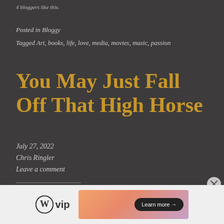4 bloggers like this.
Posted in Bloggy
Tagged Art, books, life, love, media, movies, music, passion
You May Just Fall Off That High Horse
July 27, 2022
Chris Ringler
Leave a comment
[Figure (logo): WordPress VIP logo and advertisement banner with Learn more button]